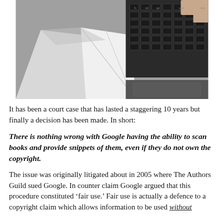[Figure (photo): Close-up photograph of a laptop computer showing the keyboard with black keys and a white notebook or paper resting on the palm rest area. A hand is partially visible at the top right.]
It has been a court case that has lasted a staggering 10 years but finally a decision has been made. In short:
There is nothing wrong with Google having the ability to scan books and provide snippets of them, even if they do not own the copyright.
The issue was originally litigated about in 2005 where The Authors Guild sued Google. In counter claim Google argued that this procedure constituted ‘fair use.’ Fair use is actually a defence to a copyright claim which allows information to be used without